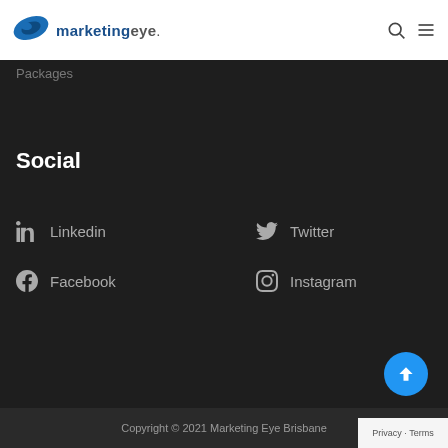[Figure (logo): Marketing Eye logo with leaf icon and company name]
Packages
Social
Linkedin
Twitter
Facebook
Instagram
Copyright © 2021 Marketing Eye Brisbane